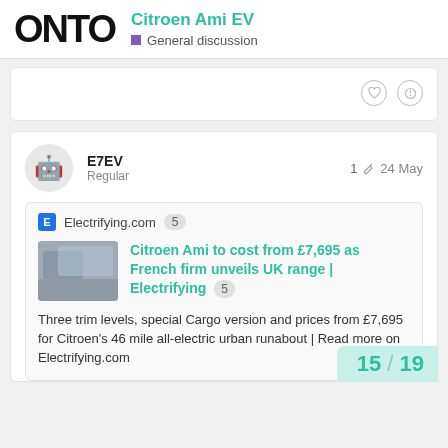ONTO — Citroen Ami EV — General discussion
[Figure (screenshot): Partial top card with heart and pin icons]
E7EV
Regular
1  24 May
Electrifying.com  5
Citroen Ami to cost from £7,695 as French firm unveils UK range | Electrifying  5
Three trim levels, special Cargo version and prices from £7,695 for Citroen's 46 mile all-electric urban runabout | Read more on Electrifying.com
15 / 19